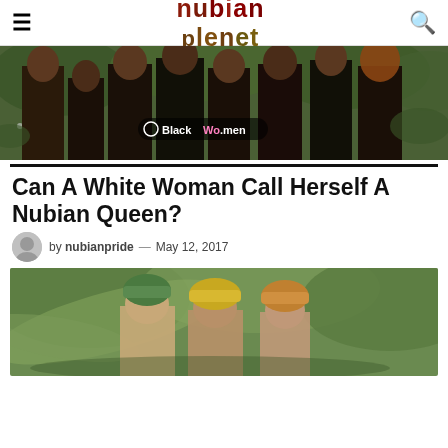Nubian Planet
[Figure (photo): Group of Black women in black clothing outdoors, with 'BlackWo.men' badge overlay]
Can A White Woman Call Herself A Nubian Queen?
by nubianpride — May 12, 2017
[Figure (photo): People wearing colorful head wraps and African-style clothing outdoors]